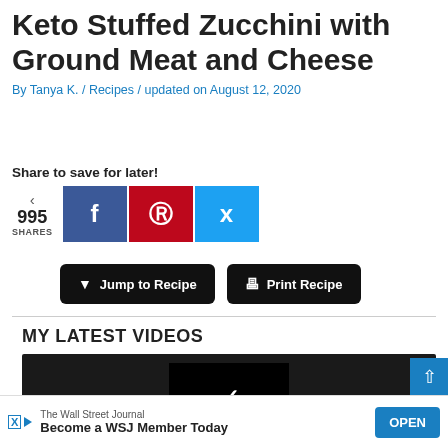Keto Stuffed Zucchini with Ground Meat and Cheese
By Tanya K. / Recipes / updated on August 12, 2020
Share to save for later!
[Figure (screenshot): Social share buttons showing 995 shares, with Facebook (blue), Pinterest (red), and Twitter (light blue) icons]
[Figure (screenshot): Two action buttons: 'Jump to Recipe' and 'Print Recipe' in black rounded rectangles]
MY LATEST VIDEOS
[Figure (screenshot): Video player area with dark background and play/check icon]
The Wall Street Journal
Become a WSJ Member Today
OPEN